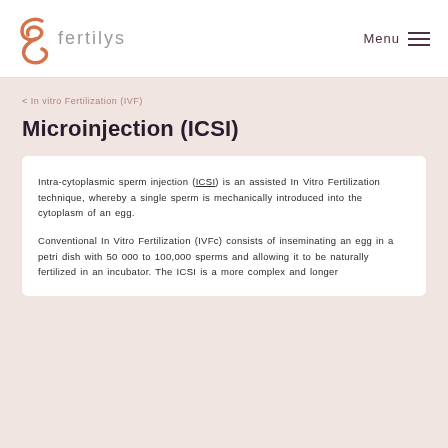fertilys  Menu
< In vitro Fertilization (IVF)
Microinjection (ICSI)
Intra-cytoplasmic sperm injection (ICSI) is an assisted In Vitro Fertilization technique, whereby a single sperm is mechanically introduced into the cytoplasm of an egg.
Conventional In Vitro Fertilization (IVFc) consists of inseminating an egg in a petri dish with 50 000 to 100,000 sperms and allowing it to be naturally fertilized in an incubator. The ICSI is a more complex and longer